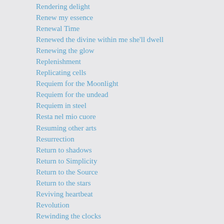Rendering delight
Renew my essence
Renewal Time
Renewed the divine within me she'll dwell
Renewing the glow
Replenishment
Replicating cells
Requiem for the Moonlight
Requiem for the undead
Requiem in steel
Resta nel mio cuore
Resuming other arts
Resurrection
Return to shadows
Return to Simplicity
Return to the Source
Return to the stars
Reviving heartbeat
Revolution
Rewinding the clocks
Reviving circuits